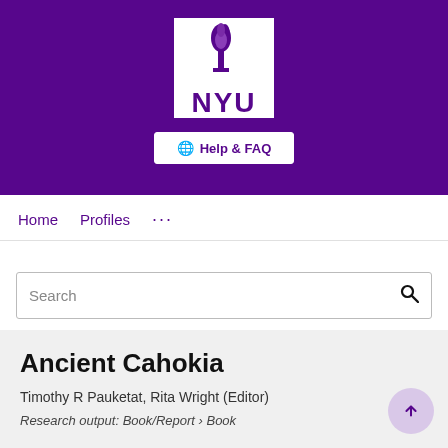[Figure (logo): NYU (New York University) logo: white box with purple torch icon and NYU text in purple, on purple banner background with Help & FAQ button]
Home   Profiles   ...
Search
Ancient Cahokia
Timothy R Pauketat, Rita Wright (Editor)
Research output: Book/Report › Book